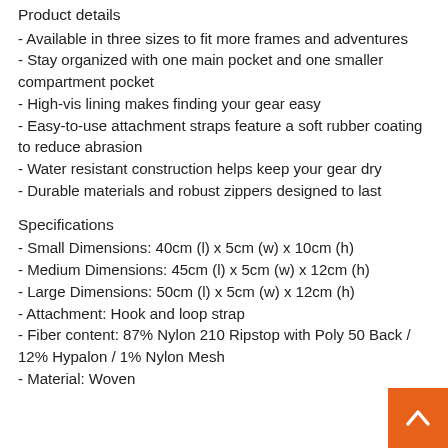Product details
- Available in three sizes to fit more frames and adventures
- Stay organized with one main pocket and one smaller compartment pocket
- High-vis lining makes finding your gear easy
- Easy-to-use attachment straps feature a soft rubber coating to reduce abrasion
- Water resistant construction helps keep your gear dry
- Durable materials and robust zippers designed to last
Specifications
- Small Dimensions: 40cm (l) x 5cm (w) x 10cm (h)
- Medium Dimensions: 45cm (l) x 5cm (w) x 12cm (h)
- Large Dimensions: 50cm (l) x 5cm (w) x 12cm (h)
- Attachment: Hook and loop strap
- Fiber content: 87% Nylon 210 Ripstop with Poly 50 Back / 12% Hypalon / 1% Nylon Mesh
- Material: Woven